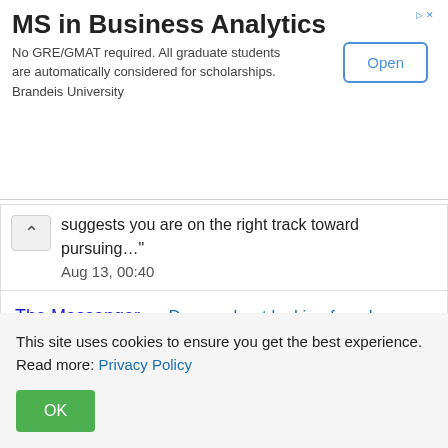[Figure (screenshot): Advertisement banner for MS in Business Analytics at Brandeis University with an Open button]
suggests you are on the right track toward pursuing…"
Aug 13, 00:40
The Messenger on Dream about looking for a house to rent: “Dear Reader, Your dream is an omen for stress, integration and responsibilities. This dream expresses you need to take time…"
Aug 13, 00:39
This site uses cookies to ensure you get the best experience. Read more: Privacy Policy